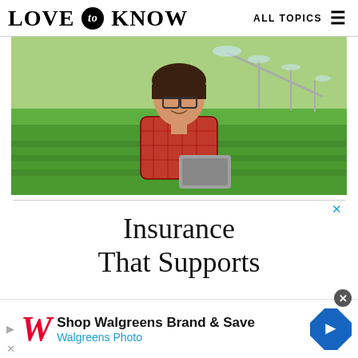LOVE to KNOW   ALL TOPICS
[Figure (photo): Woman wearing glasses and a red plaid shirt holding a laptop, standing in a green agricultural field with an irrigation sprinkler system in the background.]
Insurance
That Supports
[Figure (other): Walgreens advertisement banner: Shop Walgreens Brand & Save - Walgreens Photo, with Walgreens W logo and blue navigation arrow icon.]